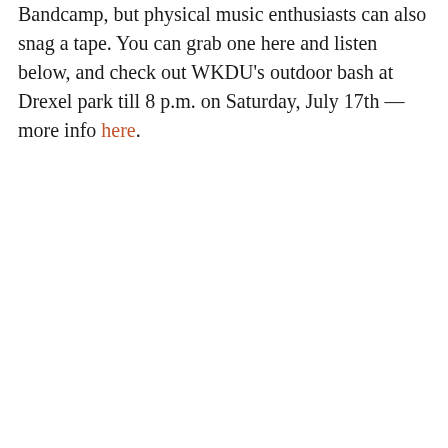Bandcamp, but physical music enthusiasts can also snag a tape. You can grab one here and listen below, and check out WKDU's outdoor bash at Drexel park till 8 p.m. on Saturday, July 17th — more info here.